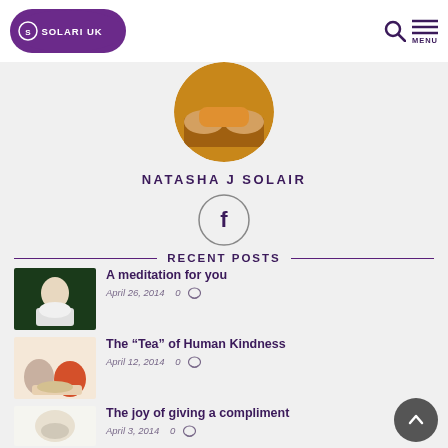[Figure (logo): Solari UK purple oval logo with text SOLARI UK]
[Figure (photo): Profile photo showing hands with orange background, circular crop]
NATASHA J SOLAIR
[Figure (other): Facebook icon inside a circle]
RECENT POSTS
[Figure (photo): Thumbnail of woman meditating in yoga pose]
A meditation for you
April 26, 2014   0
[Figure (photo): Thumbnail of two children having tea]
The "Tea" of Human Kindness
April 12, 2014   0
[Figure (photo): Thumbnail of decorative bird figurine]
The joy of giving a compliment
April 3, 2014   0
Trust, Believe, Prosper...